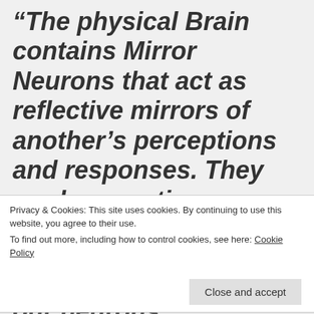“The physical Brain contains Mirror Neurons that act as reflective mirrors of another’s perceptions and responses. They read energetic information transmitted from another’s minds and then relays a copy of that information throughout the observer’s central nervous system cells, which generate
Privacy & Cookies: This site uses cookies. By continuing to use this website, you agree to their use.
To find out more, including how to control cookies, see here: Cookie Policy
over the junctions of our neurons